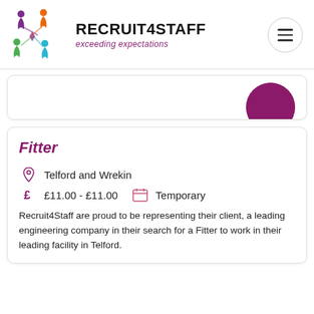[Figure (logo): Recruit4Staff logo with colorful star/people shapes and company name and tagline 'exceeding expectations']
Fitter
Telford and Wrekin
£11.00 - £11.00   Temporary
Recruit4Staff are proud to be representing their client, a leading engineering company in their search for a Fitter to work in their leading facility in Telford.